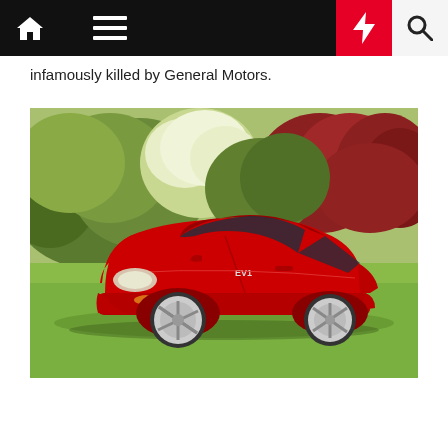Navigation bar with home, menu, moon, bolt, and search icons
infamously killed by General Motors.
[Figure (photo): A red GM EV1 electric car parked on grass in front of flowering shrubs and bushes. The car has a sleek, aerodynamic two-door coupe body style with smooth curved panels and partially enclosed rear wheel wells. The car is red with white/silver hubcaps.]